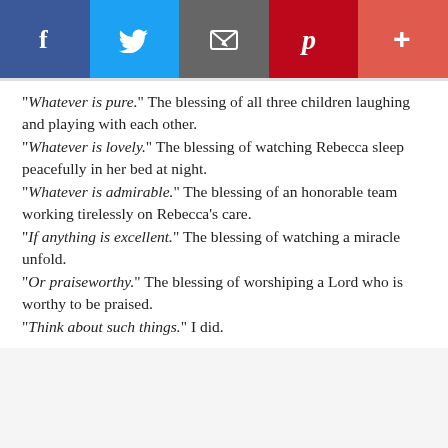[Figure (other): Social media sharing bar with icons for Facebook (blue), Twitter (light blue), Email (gray), Pinterest (dark red), and a plus/more button (red-orange)]
“Whatever is pure.” The blessing of all three children laughing and playing with each other.
“Whatever is lovely.” The blessing of watching Rebecca sleep peacefully in her bed at night.
“Whatever is admirable.” The blessing of an honorable team working tirelessly on Rebecca’s care.
“If anything is excellent.” The blessing of watching a miracle unfold.
“Or praiseworthy.” The blessing of worshiping a Lord who is worthy to be praised.
“Think about such things.” I did.